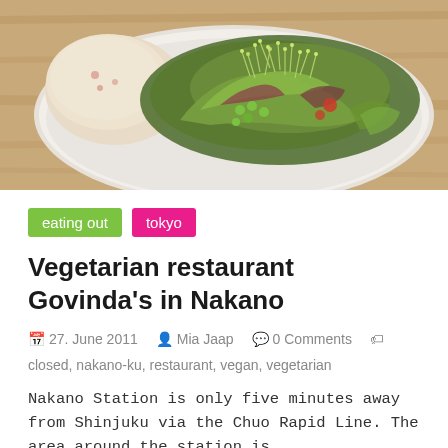[Figure (photo): Food photo showing a white plate with a salad of mixed greens, sprouts, edamame, tomatoes, and what appears to be a scoop of potato salad, placed on a wooden table surface.]
eating out
tokyo
Vegetarian restaurant Govinda's in Nakano
27. June 2011  Mia Jaap  0 Comments  closed, nakano-ku, restaurant, vegan, vegetarian
Nakano Station is only five minutes away from Shinjuku via the Chuo Rapid Line. The area around the station is
Read more